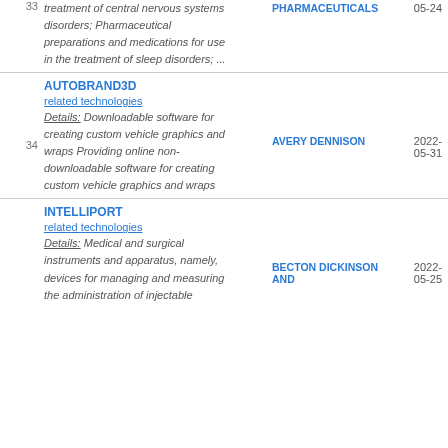33 treatment of central nervous systems disorders; Pharmaceutical preparations and medications for use in the treatment of sleep disorders; ... PHARMACEUTICALS 05-24
AUTOBRAND3D
related technologies
Details: Downloadable software for creating custom vehicle graphics and wraps Providing online non-downloadable software for creating custom vehicle graphics and wraps
34 AVERY DENNISON 2022-05-31
INTELLIPORT
related technologies
Details: Medical and surgical instruments and apparatus, namely, devices for managing and measuring the administration of injectable
35 BECTON DICKINSON AND 2022-05-25